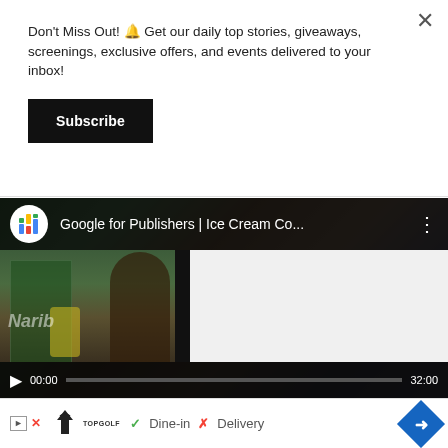Don't Miss Out! 🔔 Get our daily top stories, giveaways, screenings, exclusive offers, and events delivered to your inbox!
Subscribe
[Figure (screenshot): YouTube video player showing 'Google for Publishers | Ice Cream Co...' video with a blurred ice cream shop thumbnail, paused at 00:00, total duration 32:00]
[Figure (screenshot): Advertisement banner for TopGolf showing Dine-in checkmark and Delivery X mark with navigation arrow diamond icon]